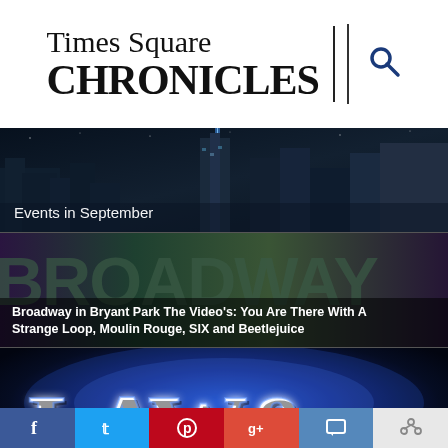[Figure (logo): Times Square Chronicles logo with search icon]
[Figure (photo): Night cityscape with text overlay: Events in September]
Events in September
[Figure (photo): Broadway in Bryant Park scene with person in purple shirt]
Broadway in Bryant Park The Video's: You Are There With A Strange Loop, Moulin Rouge, SIX and Beetlejuice
[Figure (photo): LAW & title card with glowing blue letters]
The Glorious Corner
[Figure (photo): Partial image at bottom with social media bar showing Facebook, Twitter, Pinterest, Google+, comment and share buttons]